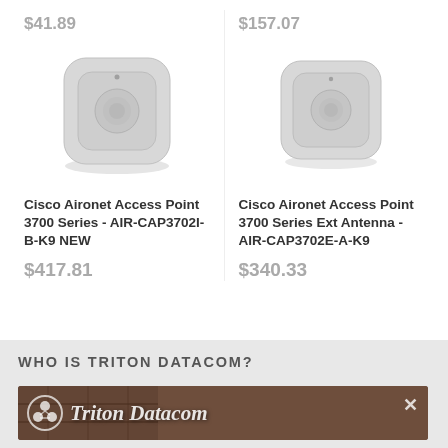$41.89
[Figure (photo): Cisco Aironet wireless access point, rounded square shape, light gray color, top-down view]
Cisco Aironet Access Point 3700 Series - AIR-CAP3702I-B-K9 NEW
$417.81
$157.07
[Figure (photo): Cisco Aironet wireless access point with external antenna support, rounded square shape, light gray color, top-down view]
Cisco Aironet Access Point 3700 Series Ext Antenna - AIR-CAP3702E-A-K9
$340.33
WHO IS TRITON DATACOM?
[Figure (photo): Triton Datacom banner/advertisement showing warehouse shelving in background with Triton Datacom logo and name overlay, with a close (X) button]